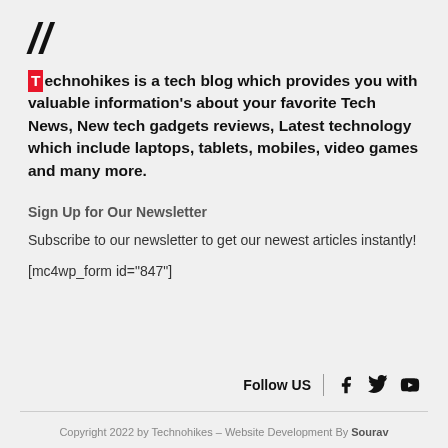//
Technohikes is a tech blog which provides you with valuable information's about your favorite Tech News, New tech gadgets reviews, Latest technology which include laptops, tablets, mobiles, video games and many more.
Sign Up for Our Newsletter
Subscribe to our newsletter to get our newest articles instantly!
[mc4wp_form id="847"]
Follow US
Copyright 2022 by Technohikes – Website Development By Sourav